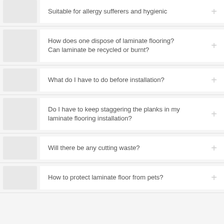Suitable for allergy sufferers and hygienic
How does one dispose of laminate flooring? Can laminate be recycled or burnt?
What do I have to do before installation?
Do I have to keep staggering the planks in my laminate flooring installation?
Will there be any cutting waste?
How to protect laminate floor from pets?